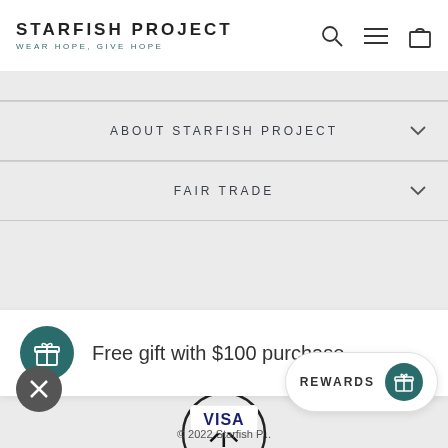STARFISH PROJECT — WEAR HOPE, GIVE HOPE
ABOUT STARFISH PROJECT
FAIR TRADE
[Figure (logo): Starfish Project circular logo with asterisk/starfish symbol inside a circle]
Free gift with $100 purchase
[Figure (logo): VISA payment logo in blue]
© 2022 Starfish P...